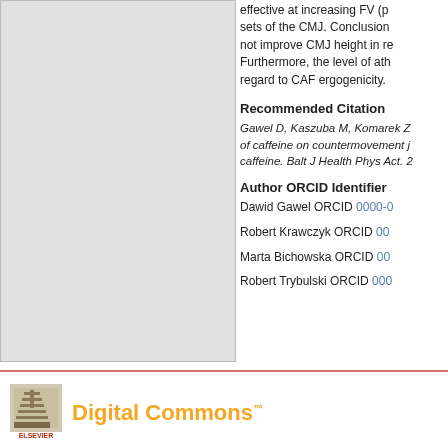[Figure (photo): Gray placeholder image occupying the left column of the page]
effective at increasing FV (p sets of the CMJ. Conclusion not improve CMJ height in re Furthermore, the level of ath regard to CAF ergogenicity.
Recommended Citation
Gawel D, Kaszuba M, Komarek Z of caffeine on countermovement j caffeine. Balt J Health Phys Act. 2
Author ORCID Identifier
Dawid Gawel ORCID 0000-0...
Robert Krawczyk ORCID 00...
Marta Bichowska ORCID 00...
Robert Trybulski ORCID 000...
Home | About | FAQ | My... Privacy Copyright — Digital Commons — ELSEVIER